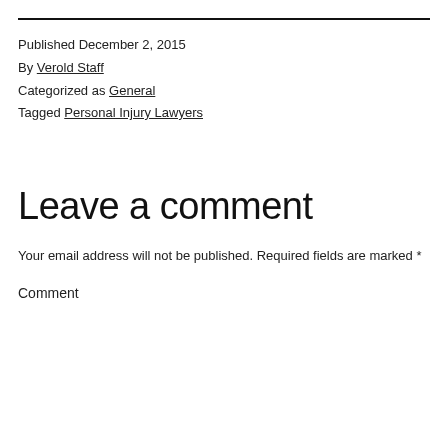Published December 2, 2015
By Verold Staff
Categorized as General
Tagged Personal Injury Lawyers
Leave a comment
Your email address will not be published. Required fields are marked *
Comment